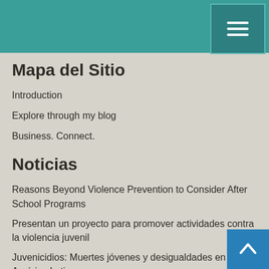Mapa del Sitio
Introduction
Explore through my blog
Business. Connect.
Noticias
Reasons Beyond Violence Prevention to Consider After School Programs
Presentan un proyecto para promover actividades contra la violencia juvenil
Juvenicidios: Muertes jóvenes y desigualdades en América Latina
Piden a empresarios oportunidades para jóvenes caleños en riesgo